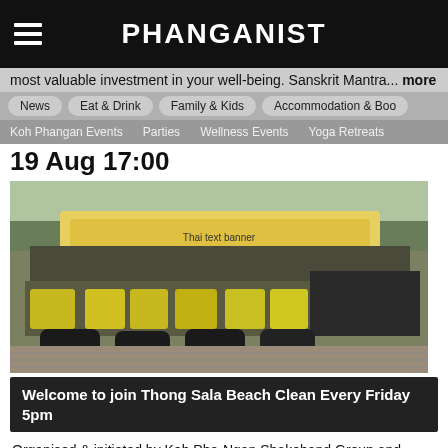PHANGANIST
most valuable investment in your well-being. Sanskrit Mantra... more
News   Eat & Drink   Family & Kids   Accommodation & Boo...
Koh Phangan Events   Parties   Wellness Events   Yoga Retreats
19 Aug 17:00
[Figure (photo): Large group photo of volunteers at Thong Sala Beach Clean event, many wearing yellow shirts, holding black garbage bags, standing and kneeling in front of a banner with Thai text and trees in the background.]
Welcome to join Thong Sala Beach Clean Every Friday 5pm
Organised & initiated by Koh Pha-Ngan Shakehand Group and ecothailand.org. All are welcome! Meet at 5 pm opposite Nira's on the aerobic... more